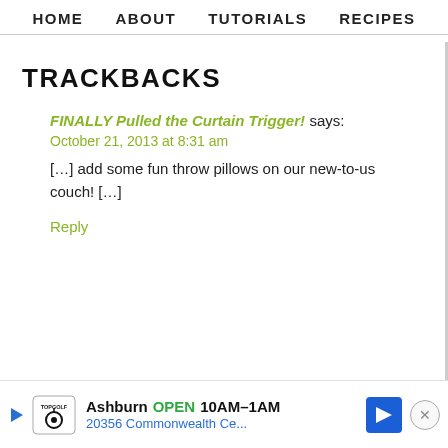HOME  ABOUT  TUTORIALS  RECIPES
TRACKBACKS
FINALLY Pulled the Curtain Trigger! says:
October 21, 2013 at 8:31 am
[…] add some fun throw pillows on our new-to-us couch! […]
Reply
[Figure (infographic): Advertisement bar: Topgolf logo, 'Ashburn OPEN 10AM-1AM', '20356 Commonwealth Ce...', blue arrow icon, close button]